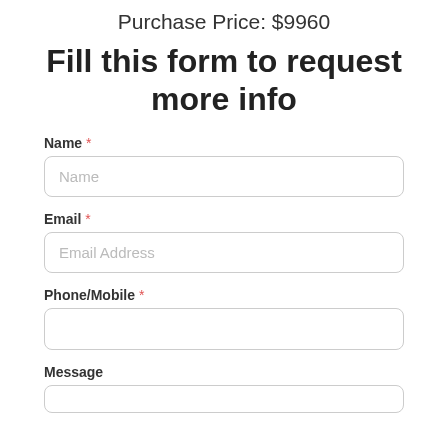Purchase Price: $9960
Fill this form to request more info
Name *
Name (placeholder)
Email *
Email Address (placeholder)
Phone/Mobile *
Message